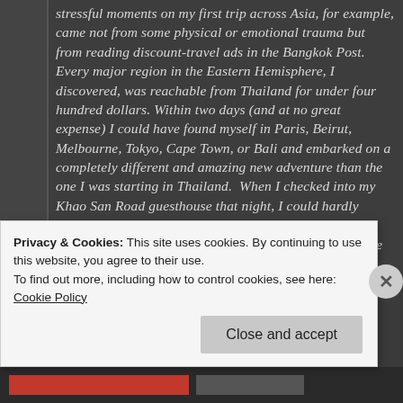stressful moments on my first trip across Asia, for example, came not from some physical or emotional trauma but from reading discount-travel ads in the Bangkok Post. Every major region in the Eastern Hemisphere, I discovered, was reachable from Thailand for under four hundred dollars. Within two days (and at no great expense) I could have found myself in Paris, Beirut, Melbourne, Tokyo, Cape Town, or Bali and embarked on a completely different and amazing new adventure than the one I was starting in Thailand. When I checked into my Khao San Road guesthouse that night, I could hardly sleep. Had I really made the right choice in com in to Southeast Asia? Hadn't I, after all, always wanted to see Australia? Might Africa have provided a wilder adventure? Didn't Europe promise more romance? In
Privacy & Cookies: This site uses cookies. By continuing to use this website, you agree to their use.
To find out more, including how to control cookies, see here: Cookie Policy
Close and accept